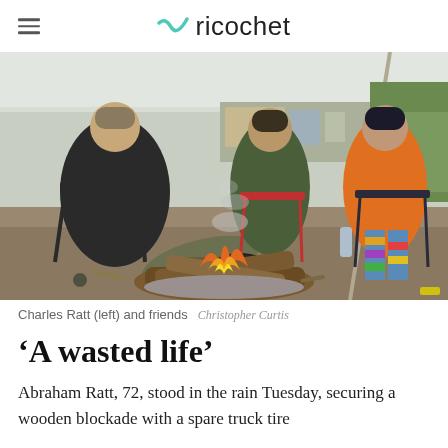ricochet
[Figure (photo): Three people sitting in camp chairs around a campfire under a tent canopy. On the left is a person in a black jacket and khaki pants with feet outstretched. In the center is a person in a green hoodie. On the right is a person in an orange hoodie with colorful patterned leggings. There is a large campfire with logs and embers in the foreground, and a folding table with supplies in the background.]
Charles Ratt (left) and friends  Christopher Curtis
‘A wasted life’
Abraham Ratt, 72, stood in the rain Tuesday, securing a wooden blockade with a spare truck tire